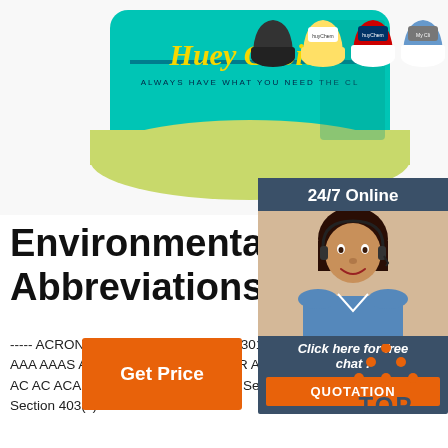[Figure (photo): Product photo of branded trucker hats — one large teal/yellow hat in foreground, and four smaller hats in various color combinations in the background]
Environmental Acronyms, Abbreviations and Glossa
----- ACRONYMS & ABBREVIATIONS 301(H)APPS 301(H)INFO 403C 5SEG A&C A&R A/WPR AA AA A AAA AAA AAAS AAEE AAEM AAES AANWR AAOH AAP AAPCO AAR/BOE AARC AARP ABA ABAC AB ABTRES AC AC AC ACA Applications for Variance f Secondary Treatment Requirements (File) 301 (h) A Tracking System Section 403(c) ...
[Figure (photo): Customer service chat widget showing 24/7 Online text, photo of a smiling woman with headset, Click here for free chat text, and QUOTATION orange button]
[Figure (other): Orange Get Price button]
[Figure (other): TOP navigation icon with orange dots and blue TOP text]